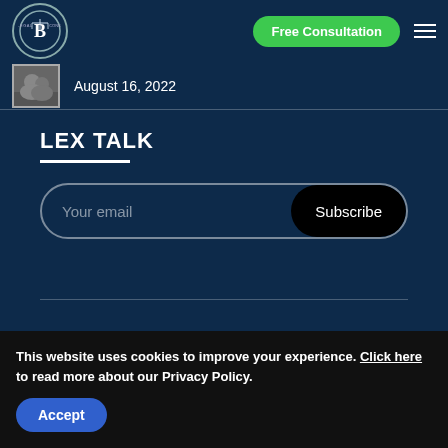Legal Consultants — Free Consultation
August 16, 2022
LEX TALK
Your email
Subscribe
This website uses cookies to improve your experience. Click here to read more about our Privacy Policy.
Accept